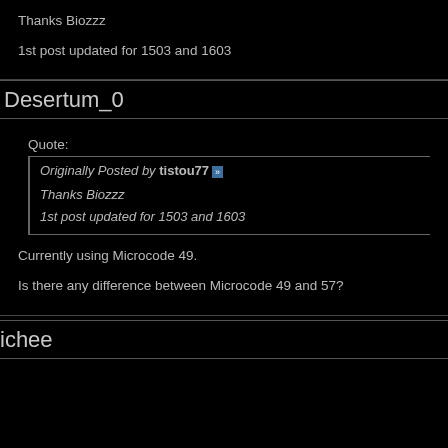Thanks Biozzz
1st post updated for 1503 and 1603
Desertum_0
Quote:
Originally Posted by tistou77
Thanks Biozzz
1st post updated for 1503 and 1603
Currently using Microcode 49.
Is there any difference between Microcode 49 and 57?
ichee